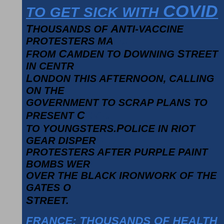TO GET SICK WITH COVID
THOUSANDS OF ANTI-VACCINE PROTESTERS MARCHED FROM CAMDEN TO DOWNING STREET IN CENTRAL LONDON THIS AFTERNOON, CALLING ON THE GOVERNMENT TO SCRAP PLANS TO PRESENT C[OVID VACCINES] TO YOUNGSTERS. POLICE IN RIOT GEAR DISPERSED PROTESTERS AFTER PURPLE PAINT BOMBS WERE [THROWN] OVER THE BLACK IRONWORK OF THE GATES OF [DOWNING] STREET.
FRANCE: THOUSANDS OF HEALTH WORKERS [WHO] REFUSED COVID VACCINE MANDATE SUSPENDED
17 SEPTEMBER 2021: THE FRENCH GOVERNMENT TODAY SUSPENDED 3,000 HEALTH WORKERS WHO DEFIED A MANADTE REQUIRING ALL MEDICAL P[ERSONNEL] TO BE VACCINATED AGAINST COVID. THE G[OVERNMENT]